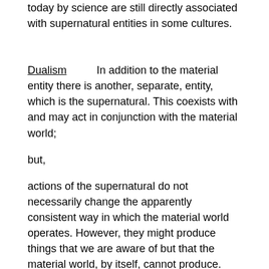today by science are still directly associated with supernatural entities in some cultures.
Dualism    In addition to the material entity there is another, separate, entity, which is the supernatural. This coexists with and may act in conjunction with the material world;
but,
actions of the supernatural do not necessarily change the apparently consistent way in which the material world operates. However, they might produce things that we are aware of but that the material world, by itself, cannot produce.
Although it may act in conjunction with the material world, the supernatural is apparently unable to be detected by material processes. Some Supernaturalists will dispute this. My justification for saying it is that all the basic processes that we observe, measure, and record in the body of science, and that we regard to be part of the material world, seem to be universal and consistent. This explains how Atheists can deny the existence of the supernatural and Agnostics can say